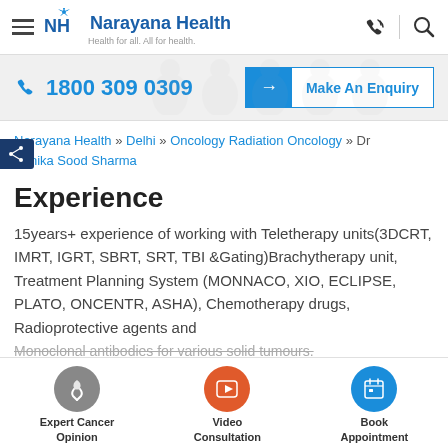Narayana Health — Health for all. All for health.
1800 309 0309 | Make An Enquiry
Narayana Health » Delhi » Oncology Radiation Oncology » Dr Kanika Sood Sharma
Experience
15years+ experience of working with Teletherapy units(3DCRT, IMRT, IGRT, SBRT, SRT, TBI &Gating)Brachytherapy unit, Treatment Planning System (MONNACO, XIO, ECLIPSE, PLATO, ONCENTR, ASHA), Chemotherapy drugs, Radioprotective agents and Monoclonal antibodies for various solid tumours.
Expert Cancer Opinion | Video Consultation | Book Appointment